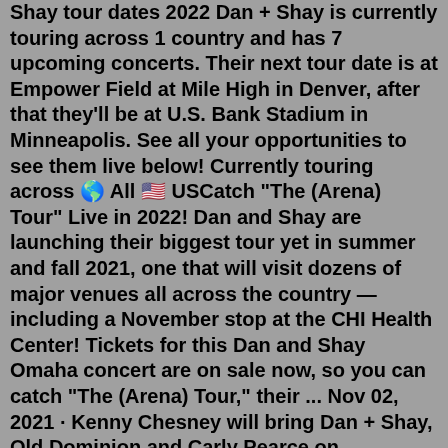Shay tour dates 2022 Dan + Shay is currently touring across 1 country and has 7 upcoming concerts. Their next tour date is at Empower Field at Mile High in Denver, after that they'll be at U.S. Bank Stadium in Minneapolis. See all your opportunities to see them live below! Currently touring across 🌎 All 🇺🇸 USCatch "The (Arena) Tour" Live in 2022! Dan and Shay are launching their biggest tour yet in summer and fall 2021, one that will visit dozens of major venues all across the country — including a November stop at the CHI Health Center! Tickets for this Dan and Shay Omaha concert are on sale now, so you can catch "The (Arena) Tour," their ... Nov 02, 2021 · Kenny Chesney will bring Dan + Shay, Old Dominion and Carly Pearce on rescheduled 2022 tour. After two years of postponements, Kenny Chesney will finally return to stadium stages next April ... Dan and Shay 2022 Tour Dates. When you access Ticketcomet.com, make sure that you can get Dan and Shay ticket Kansas City as well as discounted tickets for Kansas City main events including 49 Winchester, 98.5 Kygo...